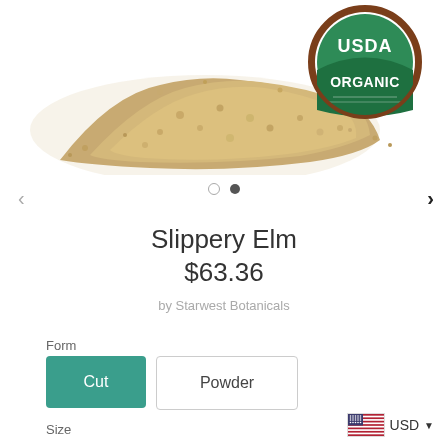[Figure (photo): Heap of ground herb powder (tan/beige color) scattered on white background, with USDA Organic circular badge in top right corner (green and brown)]
Slippery Elm
$63.36
by Starwest Botanicals
Form
Cut
Powder
Size